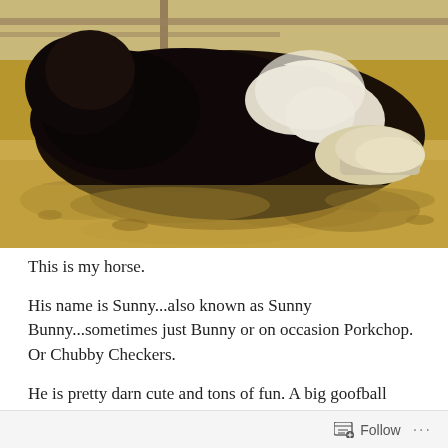[Figure (photo): A black and white horse lying on its side in sandy/dirt ground, rolling or resting, photographed in bright sunlight with shadows visible on the ground.]
This is my horse.
His name is Sunny...also known as Sunny Bunny...sometimes just Bunny or on occasion Porkchop. Or Chubby Checkers.
He is pretty darn cute and tons of fun. A big goofball with hair. He makes my day most days....I always
Follow ...